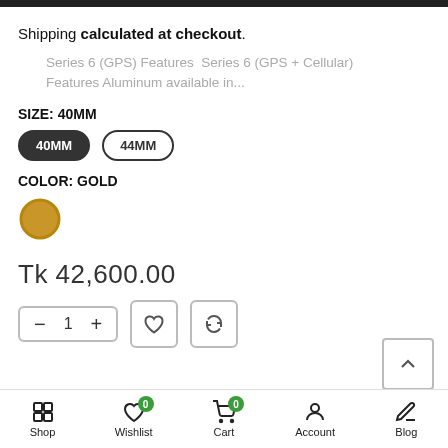Shipping calculated at checkout.
Series 6 (GPS) Features  Series 6 (GPS + Cellular) Features Aluminum available in...
SIZE: 40MM
40MM
44MM
COLOR: GOLD
Tk 42,600.00
Shop  Wishlist  Cart  Account  Blog